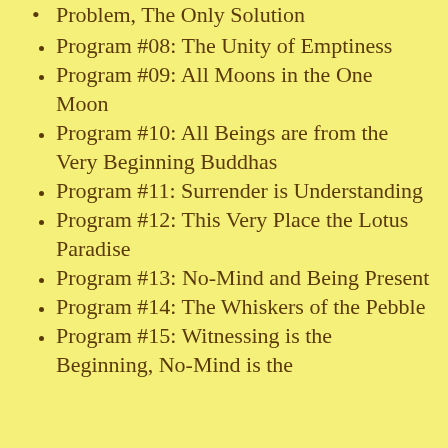Problem, The Only Solution
Program #08: The Unity of Emptiness
Program #09: All Moons in the One Moon
Program #10: All Beings are from the Very Beginning Buddhas
Program #11: Surrender is Understanding
Program #12: This Very Place the Lotus Paradise
Program #13: No-Mind and Being Present
Program #14: The Whiskers of the Pebble
Program #15: Witnessing is the Beginning, No-Mind is the